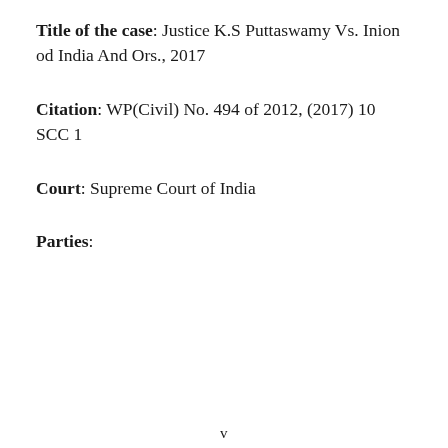Title of the case: Justice K.S Puttaswamy Vs. Inion od India And Ors., 2017
Citation: WP(Civil) No. 494 of 2012, (2017) 10 SCC 1
Court: Supreme Court of India
Parties:
v